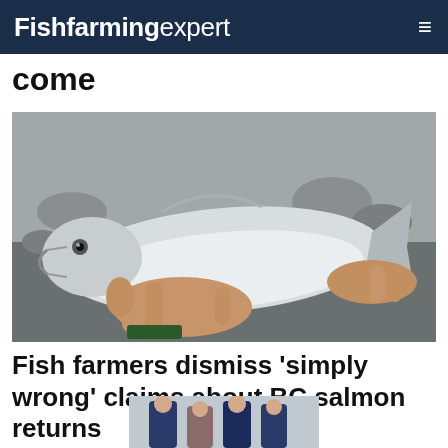Fishfarming expert
come
[Figure (photo): Hands holding a large salmon fish on a rocky beach/riverbank background]
Fish farmers dismiss 'simply wrong' claims about BC salmon returns
[Figure (photo): Partial image of people in suits at the bottom of the page]